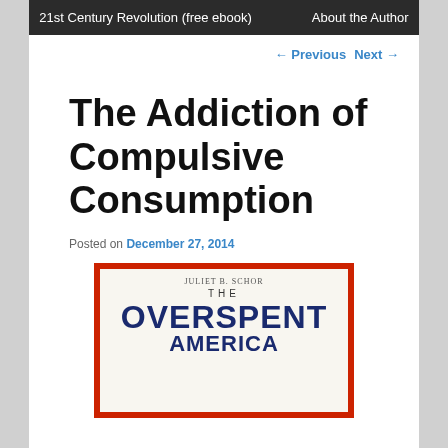21st Century Revolution (free ebook)   About the Author
← Previous   Next →
The Addiction of Compulsive Consumption
Posted on December 27, 2014
[Figure (photo): Book cover of 'The Overspent American' with red border, white background, showing THE OVERSPENT AMERICAN in large dark blue letters]